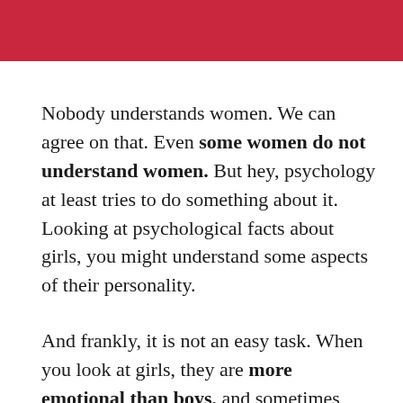[Figure (other): Red header bar at top of page]
Nobody understands women. We can agree on that. Even some women do not understand women. But hey, psychology at least tries to do something about it. Looking at psychological facts about girls, you might understand some aspects of their personality.
And frankly, it is not an easy task. When you look at girls, they are more emotional than boys, and sometimes they are not what they pretend to be. Girls excel at multitasking but do not enjoy serious people. The gender differences are real...